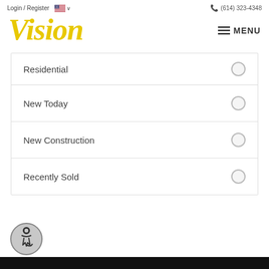Login / Register  (614) 323-4348
Vision
MENU
Residential
New Today
New Construction
Recently Sold